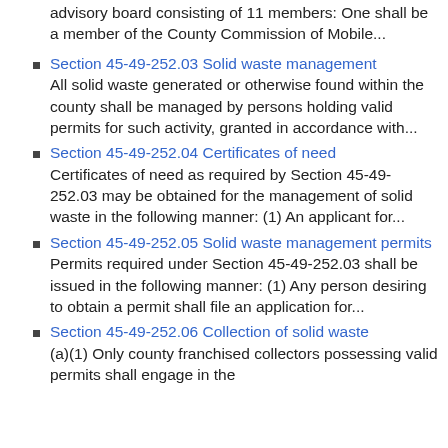advisory board consisting of 11 members: One shall be a member of the County Commission of Mobile...
Section 45-49-252.03 Solid waste management
All solid waste generated or otherwise found within the county shall be managed by persons holding valid permits for such activity, granted in accordance with...
Section 45-49-252.04 Certificates of need
Certificates of need as required by Section 45-49-252.03 may be obtained for the management of solid waste in the following manner: (1) An applicant for...
Section 45-49-252.05 Solid waste management permits
Permits required under Section 45-49-252.03 shall be issued in the following manner: (1) Any person desiring to obtain a permit shall file an application for...
Section 45-49-252.06 Collection of solid waste
(a)(1) Only county franchised collectors possessing valid permits shall engage in the